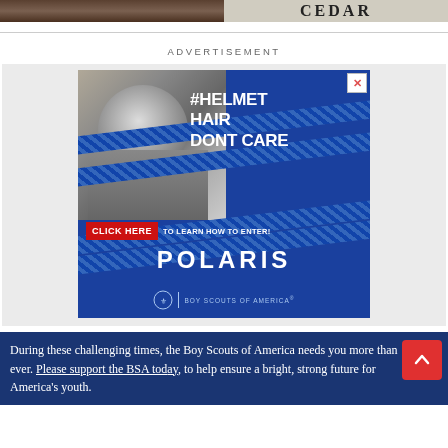[Figure (photo): Two cropped images at top: left shows a person outdoors with brown/nature background, right shows a text logo/masthead reading 'CEDAR' or similar in large dark letters]
ADVERTISEMENT
[Figure (illustration): Polaris / Boy Scouts of America advertisement. Shows a black-and-white photo of a smiling person with dirty/muddy face. Blue diagonal striped background with text '#HELMETHAIRDONTCARE', 'CLICK HERE TO LEARN HOW TO ENTER!', 'POLARIS', 'BOY SCOUTS OF AMERICA' logo and close button (X) in top right corner.]
During these challenging times, the Boy Scouts of America needs you more than ever. Please support the BSA today to help ensure a bright, strong future for America's youth.